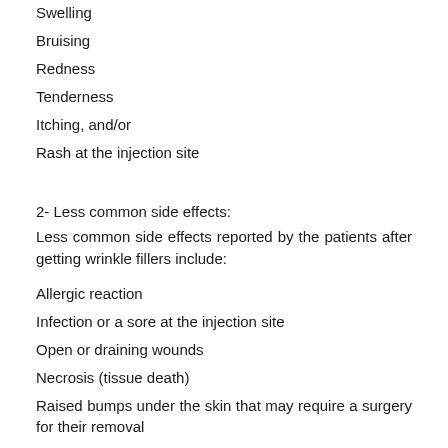Swelling
Bruising
Redness
Tenderness
Itching, and/or
Rash at the injection site
2- Less common side effects:
Less common side effects reported by the patients after getting wrinkle fillers include:
Allergic reaction
Infection or a sore at the injection site
Open or draining wounds
Necrosis (tissue death)
Raised bumps under the skin that may require a surgery for their removal